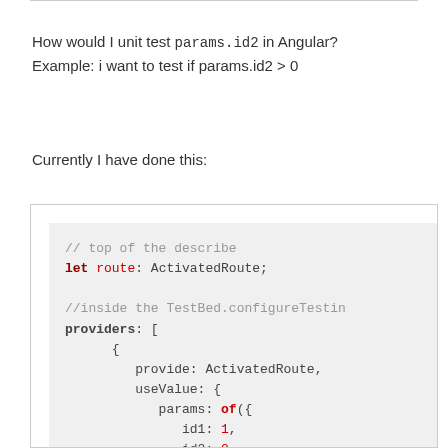How would I unit test params.id2 in Angular? Example: i want to test if params.id2 > 0
Currently I have done this:
[Figure (screenshot): Code block showing Angular unit test setup with ActivatedRoute provider mock, including params using 'of' with id1: 1 and id2: 0]